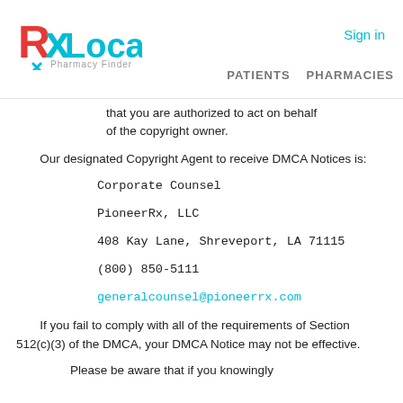RxLocal Pharmacy Finder — Sign in | PATIENTS  PHARMACIES
that you are authorized to act on behalf of the copyright owner.
Our designated Copyright Agent to receive DMCA Notices is:
Corporate Counsel
PioneerRx, LLC
408 Kay Lane, Shreveport, LA 71115
(800) 850-5111
generalcounsel@pioneerrx.com
If you fail to comply with all of the requirements of Section 512(c)(3) of the DMCA, your DMCA Notice may not be effective.
Please be aware that if you knowingly